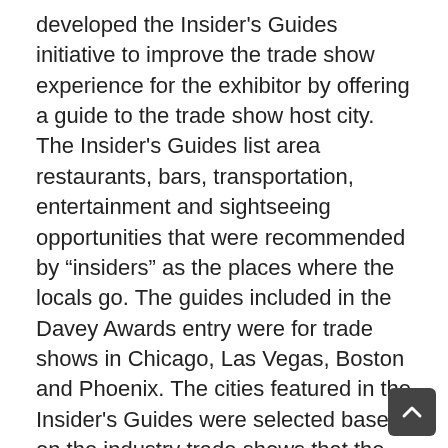developed the Insider's Guides initiative to improve the trade show experience for the exhibitor by offering a guide to the trade show host city. The Insider's Guides list area restaurants, bars, transportation, entertainment and sightseeing opportunities that were recommended by "insiders" as the places where the locals go. The guides included in the Davey Awards entry were for trade shows in Chicago, Las Vegas, Boston and Phoenix. The cities featured in the Insider's Guides were selected based on the industry trade shows that the agency attends within its clients' markets. Materials within the Insider's Guides initiative, and Davey Award entry, included printed and electronic versions of the guides, quick reference Insider's Guide cards, trade publication cover wraps and "Sonnhalter Sacks" with refreshment and entertainment items for trade show exhibitors. "The Insider's Guides are Sonnhalter's way of helping exhibitors find a great place to eat in an unfamiliar city," said Matt Sonnhalter, vision architect at Sonnhalter. Sonnhalter continues to offer Insider's Guides